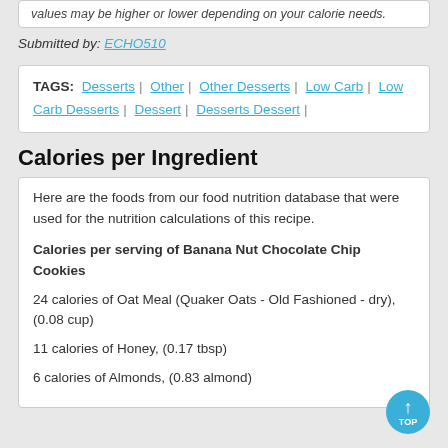values may be higher or lower depending on your calorie needs.
Submitted by: ECHO510
TAGS: Desserts | Other | Other Desserts | Low Carb | Low Carb Desserts | Dessert | Desserts Dessert |
Calories per Ingredient
Here are the foods from our food nutrition database that were used for the nutrition calculations of this recipe.
Calories per serving of Banana Nut Chocolate Chip Cookies
24 calories of Oat Meal (Quaker Oats - Old Fashioned - dry), (0.08 cup)
11 calories of Honey, (0.17 tbsp)
6 calories of Almonds, (0.83 almond)